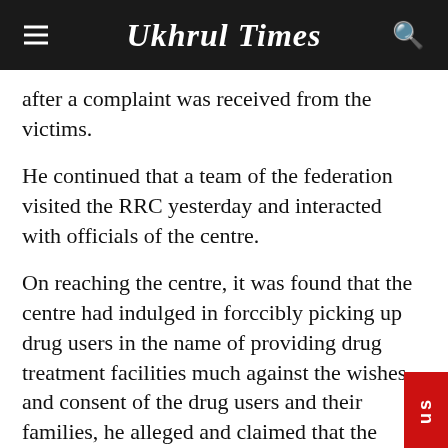Ukhrul Times
after a complaint was received from the victims.
He continued that a team of the federation visited the RRC yesterday and interacted with officials of the centre.
On reaching the centre, it was found that the centre had indulged in forccibly picking up drug users in the name of providing drug treatment facilities much against the wishes and consent of the drug users and their families, he alleged and claimed that the centre also engaged their staff (referred to as aftercare staff) as security guards and give them the liberty to physically assault any of the clients as and when desired.